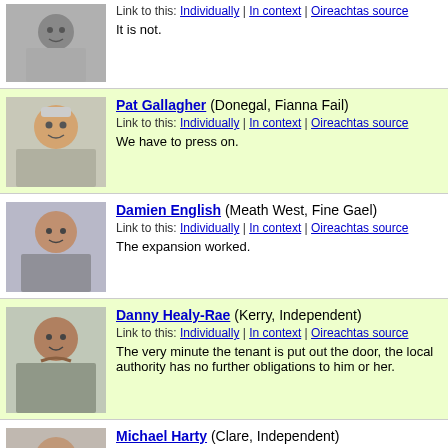[Figure (photo): Portrait photo of first speaker (top, partially visible)]
Link to this: Individually | In context | Oireachtas source
It is not.
[Figure (photo): Portrait photo of Pat Gallagher]
Pat Gallagher (Donegal, Fianna Fail)
Link to this: Individually | In context | Oireachtas source
We have to press on.
[Figure (photo): Portrait photo of Damien English]
Damien English (Meath West, Fine Gael)
Link to this: Individually | In context | Oireachtas source
The expansion worked.
[Figure (photo): Portrait photo of Danny Healy-Rae]
Danny Healy-Rae (Kerry, Independent)
Link to this: Individually | In context | Oireachtas source
The very minute the tenant is put out the door, the local authority has no further obligations to him or her.
[Figure (photo): Portrait photo of Michael Harty]
Michael Harty (Clare, Independent)
Link to this: Individually | In context | Oireachtas source
I will make a proposal to the Minister of State that I made to the Minister regarding a solution - not the solution - to the housing situation in Dublin and other high-pressure areas. There is a surplus of